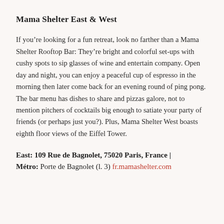Mama Shelter East & West
If you’re looking for a fun retreat, look no farther than a Mama Shelter Rooftop Bar: They’re bright and colorful set-ups with cushy spots to sip glasses of wine and entertain company. Open day and night, you can enjoy a peaceful cup of espresso in the morning then later come back for an evening round of ping pong. The bar menu has dishes to share and pizzas galore, not to mention pitchers of cocktails big enough to satiate your party of friends (or perhaps just you?). Plus, Mama Shelter West boasts eighth floor views of the Eiffel Tower.
East: 109 Rue de Bagnolet, 75020 Paris, France | Métro: Porte de Bagnolet (l. 3) fr.mamashelter.com